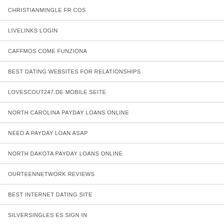CHRISTIANMINGLE FR COS
LIVELINKS LOGIN
CAFFMOS COME FUNZIONA
BEST DATING WEBSITES FOR RELATIONSHIPS
LOVESCOUT247.DE MOBILE SEITE
NORTH CAROLINA PAYDAY LOANS ONLINE
NEED A PAYDAY LOAN ASAP
NORTH DAKOTA PAYDAY LOANS ONLINE
OURTEENNETWORK REVIEWS
BEST INTERNET DATING SITE
SILVERSINGLES ES SIGN IN